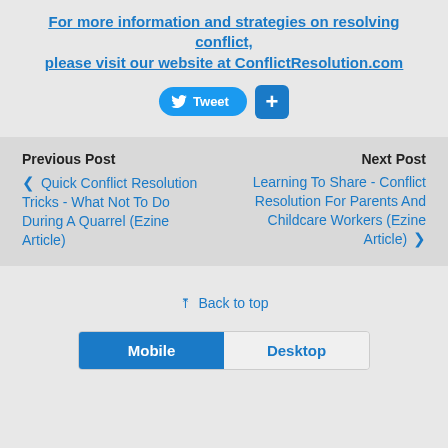For more information and strategies on resolving conflict, please visit our website at ConflictResolution.com
[Figure (other): Tweet button and Google+ button]
Previous Post
Next Post
❮ Quick Conflict Resolution Tricks - What Not To Do During A Quarrel (Ezine Article)
Learning To Share - Conflict Resolution For Parents And Childcare Workers (Ezine Article) ❯
Back to top
[Figure (other): Mobile/Desktop toggle bar with Mobile selected (blue) and Desktop unselected]